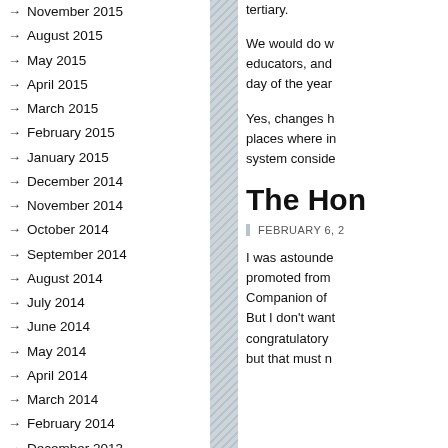November 2015
August 2015
May 2015
April 2015
March 2015
February 2015
January 2015
December 2014
November 2014
October 2014
September 2014
August 2014
July 2014
June 2014
May 2014
April 2014
March 2014
February 2014
December 2013
November 2013
October 2013
September 2013
tertiary.
We would do w educators, and day of the year
Yes, changes h places where in system conside
The Hon
FEBRUARY 6, 2
I was astounde promoted from Companion of But I don't want congratulatory but that must n